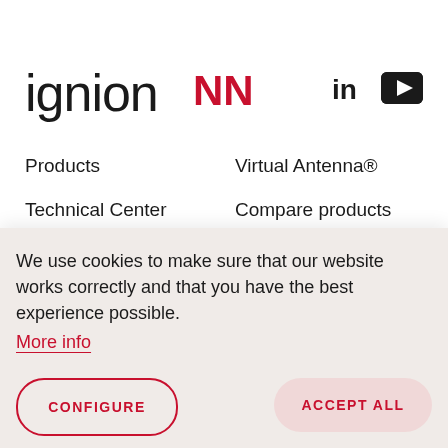[Figure (logo): Ignion logo with red NN symbol and social media icons (LinkedIn, YouTube)]
Products
Virtual Antenna®
Technical Center
Compare products
We use cookies to make sure that our website works correctly and that you have the best experience possible.
More info
CONFIGURE
ACCEPT ALL